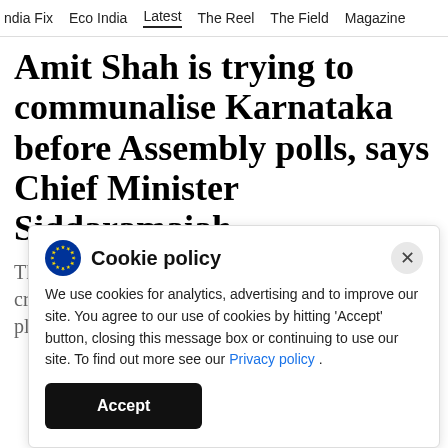ndia Fix   Eco India   Latest   The Reel   The Field   Magazine
Amit Shah is trying to communalise Karnataka before Assembly polls, says Chief Minister Siddaramaiah
The BJP president, at a rally this week, had criticised the Congress-led state government for planning Tinu Jayanti celebrations.
Cookie policy

We use cookies for analytics, advertising and to improve our site. You agree to our use of cookies by hitting 'Accept' button, closing this message box or continuing to use our site. To find out more see our Privacy policy .

Accept